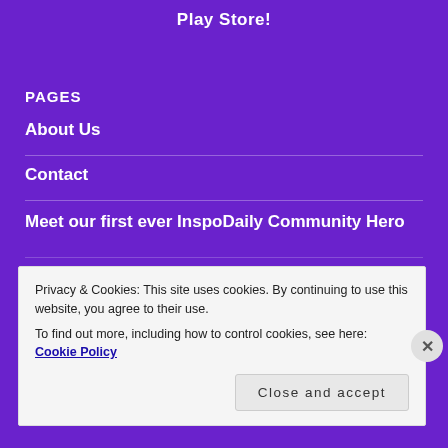Play Store!
PAGES
About Us
Contact
Meet our first ever InspoDaily Community Hero
CATEGORIES
Privacy & Cookies: This site uses cookies. By continuing to use this website, you agree to their use.
To find out more, including how to control cookies, see here: Cookie Policy
Close and accept